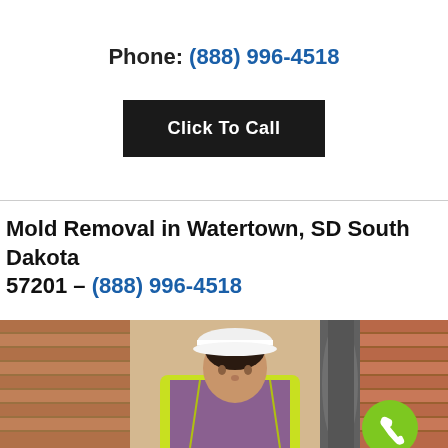Phone: (888) 996-4518
Click To Call
Mold Removal in Watertown, SD South Dakota 57201 – (888) 996-4518
[Figure (photo): Construction worker in white hard hat and yellow safety vest inspecting a brick wall. A green circular phone icon badge is visible in the bottom right corner.]